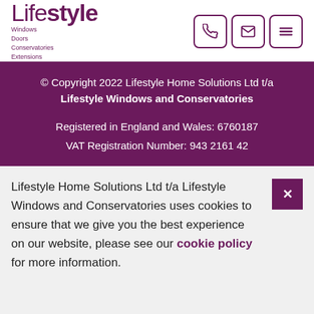[Figure (logo): Lifestyle Windows Doors Conservatories Extensions logo in purple]
[Figure (infographic): Three navigation icon buttons: phone, email, and menu (hamburger) with purple border]
© Copyright 2022 Lifestyle Home Solutions Ltd t/a Lifestyle Windows and Conservatories
Registered in England and Wales: 6760187
VAT Registration Number: 943 2161 42
Lifestyle Home Solutions Ltd t/a Lifestyle Windows and Conservatories uses cookies to ensure that we give you the best experience on our website, please see our cookie policy for more information.